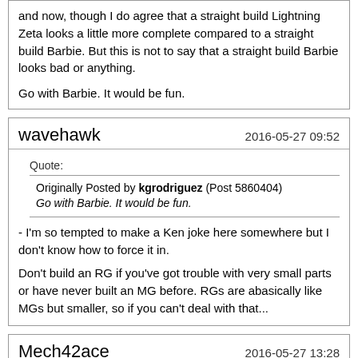and now, though I do agree that a straight build Lightning Zeta looks a little more complete compared to a straight build Barbie. But this is not to say that a straight build Barbie looks bad or anything.

Go with Barbie. It would be fun.
wavehawk
2016-05-27 09:52
Quote:
Originally Posted by kgrodriguez (Post 5860404)
Go with Barbie. It would be fun.

- I'm so tempted to make a Ken joke here somewhere but I don't know how to force it in.

Don't build an RG if you've got trouble with very small parts or have never built an MG before. RGs are abasically like MGs but smaller, so if you can't deal with that...
Mech42ace
2016-05-27 13:28
Quote:
Originally Posted by Galaxian (Post 5859935)